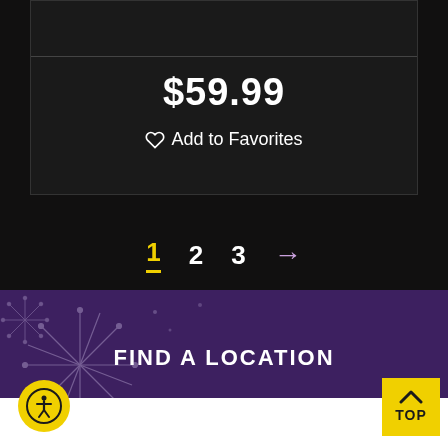$59.99
Add to Favorites
1  2  3  →
FIND A LOCATION
City, State or Zip